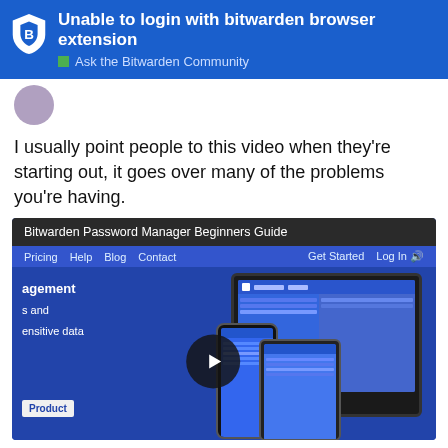Unable to login with bitwarden browser extension — Ask the Bitwarden Community
I usually point people to this video when they're starting out, it goes over many of the problems you're having.
[Figure (screenshot): Screenshot of a YouTube video thumbnail for 'Bitwarden Password Manager Beginners Guide' showing the Bitwarden website with device mockups (monitor, phone, tablet) and a play button overlay.]
13 / 13